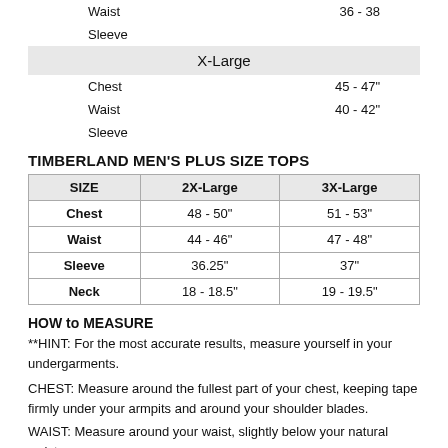|  |  |
| --- | --- |
| Waist | 36 - 38 |
| Sleeve |  |
| X-Large |  |
| Chest | 45 - 47" |
| Waist | 40 - 42" |
| Sleeve |  |
TIMBERLAND MEN'S PLUS SIZE TOPS
| SIZE | 2X-Large | 3X-Large |
| --- | --- | --- |
| Chest | 48 - 50" | 51 - 53" |
| Waist | 44 - 46" | 47 - 48" |
| Sleeve | 36.25" | 37" |
| Neck | 18 - 18.5" | 19 - 19.5" |
HOW to MEASURE
**HINT: For the most accurate results, measure yourself in your undergarments.
CHEST: Measure around the fullest part of your chest, keeping tape firmly under your armpits and around your shoulder blades.
WAIST: Measure around your waist, slightly below your natural waist.